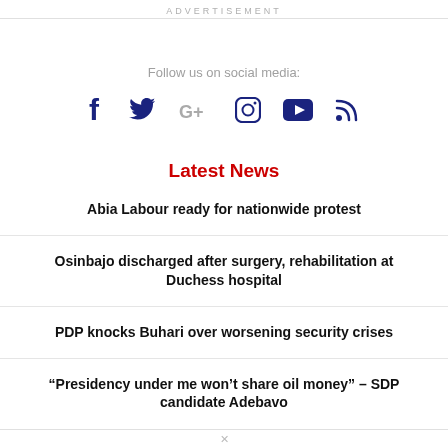ADVERTISEMENT
Follow us on social media:
[Figure (infographic): Social media icons: Facebook, Twitter, Google+, Instagram, YouTube, RSS]
Latest News
Abia Labour ready for nationwide protest
Osinbajo discharged after surgery, rehabilitation at Duchess hospital
PDP knocks Buhari over worsening security crises
“Presidency under me won’t share oil money” – SDP candidate Adebavo